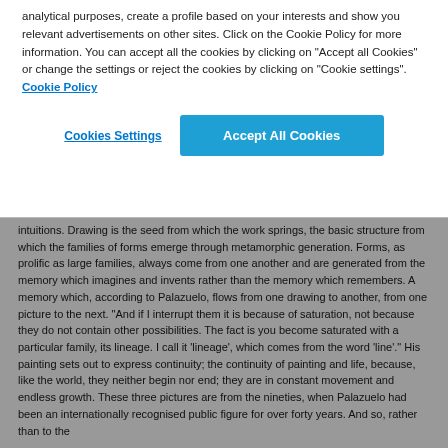analytical purposes, create a profile based on your interests and show you relevant advertisements on other sites. Click on the Cookie Policy for more information. You can accept all the cookies by clicking on "Accept all Cookies" or change the settings or reject the cookies by clicking on "Cookie settings".  Cookie Policy
Cookies Settings
Accept All Cookies
intuitions. Drawing is the seed from which the work springs, the basic structure from which the families of forms emerge through metamorphic generation. Forms, as prolific as large families, always come from one another and are generated from the memory which imagines and invents rather than the memory which remembers. A memory which, according to Palazuelo, flows from one drawing to another, from one picture to the next. "And if I interrupt them it is because of saturation, not because they do not contain other possibilities. The fact is you become saturated with a particular family, its lineage. I call it 'lineage', which comes from the word 'line'." His painting sets out to express continuity; the continuity of painting and life, because, like the world, they neither begin nor end; they are in constant movement and endless growth. These three pictures are from the nineties, when Palazuelo had been an internationally recognised public figure for over forty years. And so, rather than to the